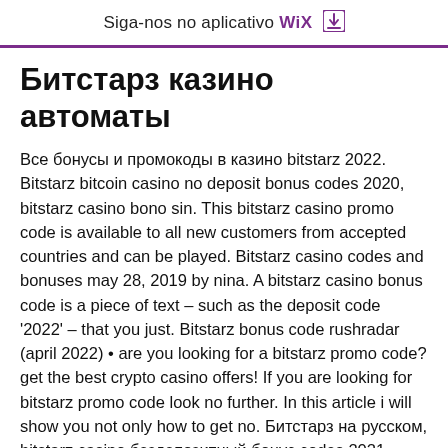Siga-nos no aplicativo WiX ↓
Битстарз казино автоматы
Все бонусы и промокоды в казино bitstarz 2022. Bitstarz bitcoin casino no deposit bonus codes 2020, bitstarz casino bono sin. This bitstarz casino promo code is available to all new customers from accepted countries and can be played. Bitstarz casino codes and bonuses may 28, 2019 by nina. A bitstarz casino bonus code is a piece of text – such as the deposit code '2022' – that you just. Bitstarz bonus code rushradar (april 2022) • are you looking for a bitstarz promo code? get the best crypto casino offers! If you are looking for bitstarz promo code look no further. In this article i will show you not only how to get no. Битстарз на русском, bitstarz casino бездепозитный бонус codes 2021. Https: which casino bonus code do